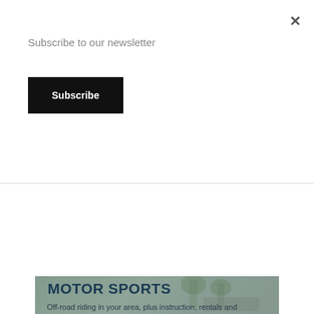Subscribe to our newsletter
×
Subscribe
[Figure (photo): Person shooting a shotgun wearing an orange vest, used as background for Shooting Sports card]
SHOOTING SPORTS
Get started right with local safety education, training, ranges and retailers
[Figure (photo): Off-road vehicle/ATV in outdoor setting, used as background for Motor Sports card]
MOTOR SPORTS
Off-road riding in your area, plus instruction, rentals and dealers